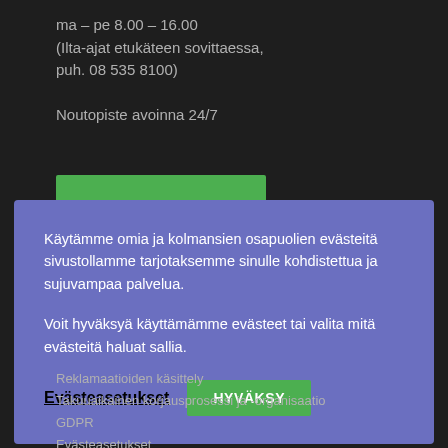ma – pe 8.00 – 16.00
(Ilta-ajat etukäteen sovittaessa,
puh. 08 535 8100)

Noutopiste avoinna 24/7
Käytämme omia ja kolmansien osapuolien evästeitä sivustollamme tarjotaksemme sinulle kohdistettua ja sujuvampaa palvelua.

Voit hyväksyä käyttämämme evästeet tai valita mitä evästeitä haluat sallia.
Evästeasetukset
HYVÄKSY
Reklamaatioiden käsittely
Takuuaikainen korjausprosessi ja -organisaatio
GDPR
Evästeasetukset